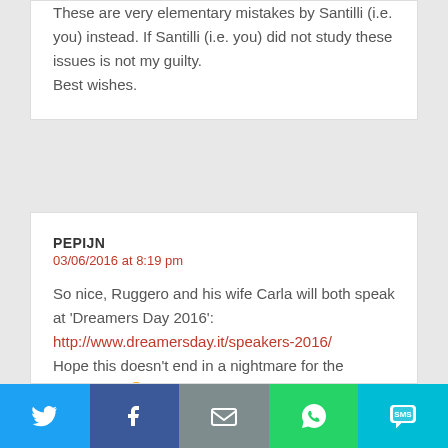These are very elementary mistakes by Santilli (i.e. you) instead. If Santilli (i.e. you) did not study these issues is not my guilty.
Best wishes.
PEPIJN
03/06/2016 at 8:19 pm
So nice, Ruggero and his wife Carla will both speak at 'Dreamers Day 2016': http://www.dreamersday.it/speakers-2016/ Hope this doesn't end in a nightmare for the organizers 😉
[Figure (infographic): Social sharing bar with Twitter, Facebook, Email, WhatsApp, and SMS buttons]